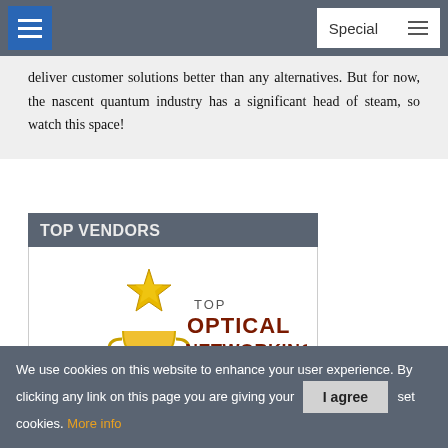Special
deliver customer solutions better than any alternatives. But for now, the nascent quantum industry has a significant head of steam, so watch this space!
TOP VENDORS
[Figure (logo): TOP OPTICAL NETWORKING SOLUTION PROVIDERS 2021 recognized by enterprise networking — award trophy with gold star]
We use cookies on this website to enhance your user experience. By clicking any link on this page you are giving your consent to set cookies. More info